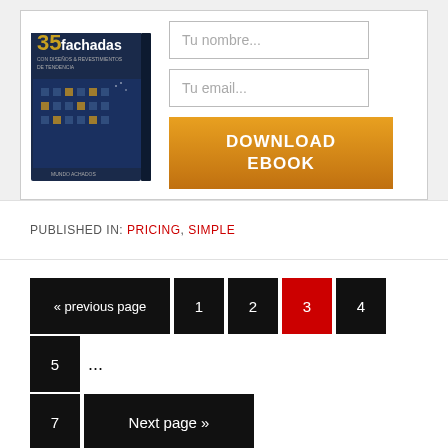[Figure (illustration): Book cover: '35 fachadas con diseños & revestimientos de tendencia' showing an architectural building facade at night, published by Mundo Achados]
Tu nombre...
Tu email...
DOWNLOAD EBOOK
PUBLISHED IN: PRICING, SIMPLE
« previous page  1  2  3  4  5  ...  7  Next page »